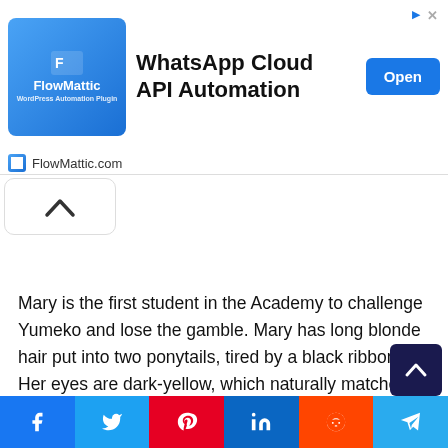[Figure (screenshot): FlowMattic advertisement banner — WhatsApp Cloud API Automation with Open button and FlowMattic.com footer]
[Figure (screenshot): Scroll-up chevron button in a rounded rectangle]
Mary is the first student in the Academy to challenge Yumeko and lose the gamble. Mary has long blonde hair put into two ponytails, tired by a black ribbon. Her eyes are dark-yellow, which naturally matches her hair. In the beginning, Mary was presented as a sadistic girl, and that can be seen by the
[Figure (screenshot): Dark navy scroll-to-top arrow button]
[Figure (screenshot): Social share bar with icons for Facebook, Twitter, Pinterest, LinkedIn, Reddit, and Telegram]